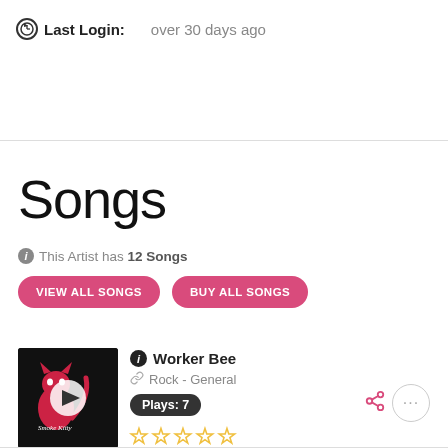Last Login: over 30 days ago
Songs
This Artist has 12 Songs
VIEW ALL SONGS
BUY ALL SONGS
[Figure (illustration): Album thumbnail with red cat logo and play button overlay for 'Smoke Kitty' band]
Worker Bee
Rock - General
Plays: 7
★★★★★ (empty stars rating)